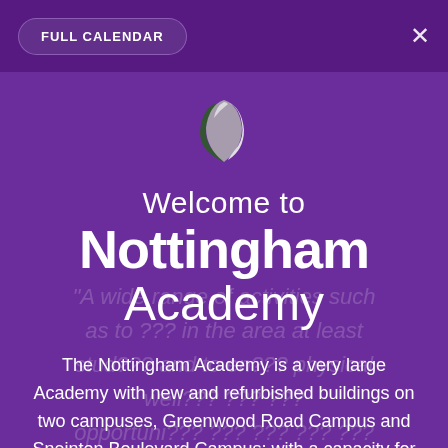[Figure (logo): Nottingham Academy shield/crest logo — stylized overlapping curved shapes in silver, white, and dark green forming a shield emblem]
Welcome to Nottingham Academy
The Nottingham Academy is a very large Academy with new and refurbished buildings on two campuses, Greenwood Road Campus and Sneinton Boulevard Campus; with a capacity for 3750 pupils. It is one of only a